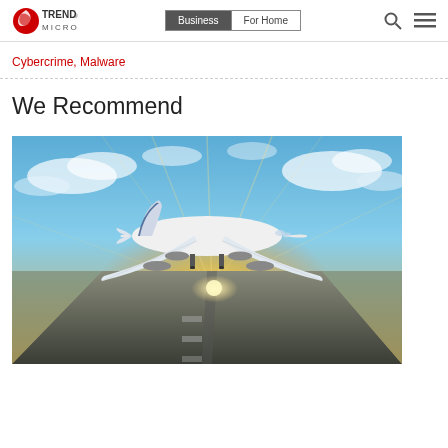Trend Micro | Business | For Home
Cybercrime, Malware
We Recommend
[Figure (photo): A large commercial airplane (front view) taking off from a runway at sunset/sunrise, with bright sun rays visible beneath the aircraft and a blue sky with clouds in the background.]